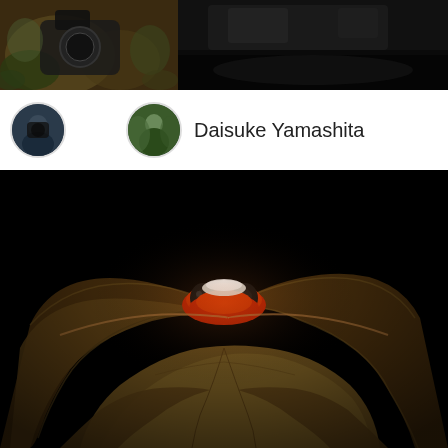[Figure (photo): Top-left thumbnail photo showing hands holding a camera with greenish mossy background]
[Figure (photo): Top-right thumbnail photo with dark/black background showing partial vehicle or dark object]
[Figure (photo): Small circular avatar profile photo of a person with camera, dark tones]
Daisuke Yamashita
[Figure (photo): Small circular avatar profile photo showing a person outdoors with greenish background]
[Figure (photo): Main large photo: a hermit crab with bright red-orange body and black eyes peeking out from between brown dried leaves against a black background, dramatic macro photography]